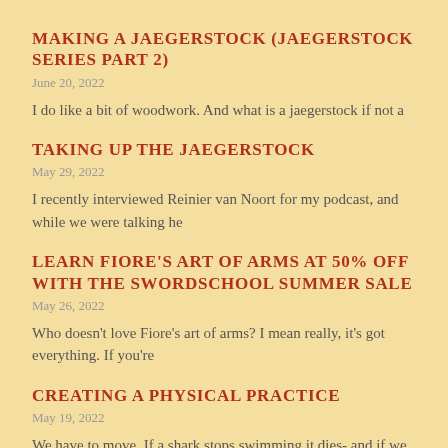MAKING A JAEGERSTOCK (JAEGERSTOCK SERIES PART 2)
June 20, 2022
I do like a bit of woodwork. And what is a jaegerstock if not a
TAKING UP THE JAEGERSTOCK
May 29, 2022
I recently interviewed Reinier van Noort for my podcast, and while we were talking he
LEARN FIORE'S ART OF ARMS AT 50% OFF WITH THE SWORDSCHOOL SUMMER SALE
May 26, 2022
Who doesn't love Fiore's art of arms? I mean really, it's got everything. If you're
CREATING A PHYSICAL PRACTICE
May 19, 2022
We have to move. If a shark stops swimming it dies- and if we stop